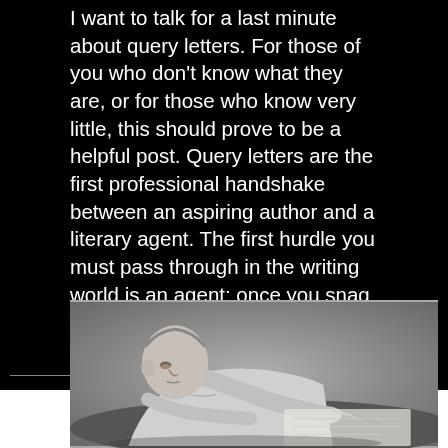I want to talk for a last minute about query letters. For those of you who don't know what they are, or for those who know very little, this should prove to be a helpful post. Query letters are the first professional handshake between an aspiring author and a literary agent. The first hurdle you must pass through in the writing world is an agent; once you snag a good one, you will usually have them guiding you for the rest of your career. Of course, it's not unheard of to run
[Figure (photo): Black and white photograph of a middle-aged man leaning over a desk, writing intently with a pen or pencil.]